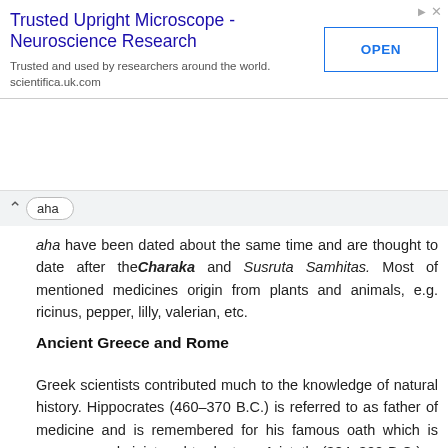[Figure (other): Advertisement banner for Trusted Upright Microscope - Neuroscience Research from scientifica.uk.com with an OPEN button]
aha have been dated about the same time and are thought to date after the Charaka and Susruta Samhitas. Most of mentioned medicines origin from plants and animals, e.g. ricinus, pepper, lilly, valerian, etc.
Ancient Greece and Rome
Greek scientists contributed much to the knowledge of natural history. Hippocrates (460–370 B.C.) is referred to as father of medicine and is remembered for his famous oath which is even now administered to doctors. Aristotle (384–322 B.C.), a student of Plato was a philosopher and is known for his writing on animal kingdom which is consid-ered authoritative even in twentieth century. Theophrastus (370–287 B.C.), a student of Aristotle, wrote about plant kingdom. Dioscorides, a physician who lived in the first century